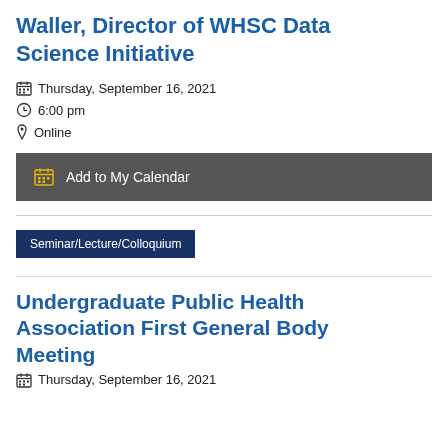Waller, Director of WHSC Data Science Initiative
Thursday, September 16, 2021
6:00 pm
Online
Add to My Calendar
Seminar/Lecture/Colloquium
Undergraduate Public Health Association First General Body Meeting
Thursday, September 16, 2021